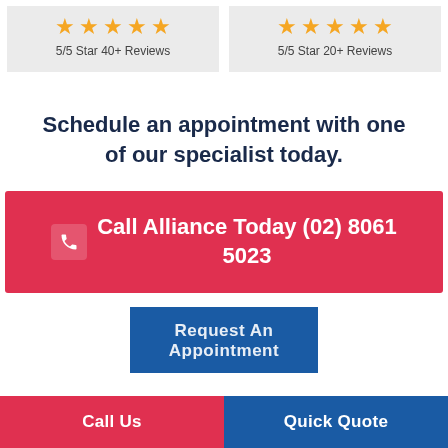[Figure (other): Two review boxes side by side, each showing 5 gold stars. Left box: 5/5 Star 40+ Reviews. Right box: 5/5 Star 20+ Reviews.]
Schedule an appointment with one of our specialist today.
Call Alliance Today (02) 8061 5023
Request An Appointment
Call Us
Quick Quote